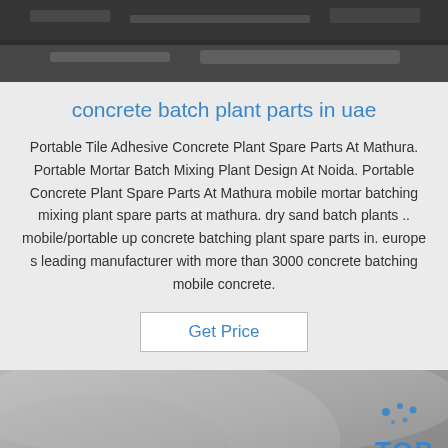[Figure (photo): Industrial machinery or equipment, dark metallic close-up photo at top of page]
concrete batch plant parts in uae
Portable Tile Adhesive Concrete Plant Spare Parts At Mathura. Portable Mortar Batch Mixing Plant Design At Noida. Portable Concrete Plant Spare Parts At Mathura mobile mortar batching mixing plant spare parts at mathura. dry sand batch plants .. mobile/portable up concrete batching plant spare parts in. europe s leading manufacturer with more than 3000 concrete batching mobile concrete.
Get Price
[Figure (photo): Metallic cylindrical surface close-up photo at bottom of page, with blue TOP badge logo in bottom right corner]